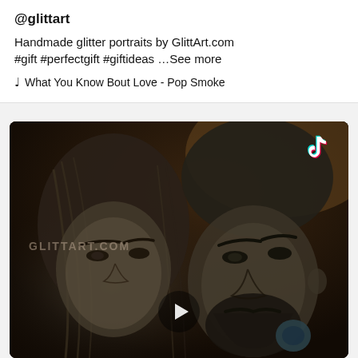@glittart
Handmade glitter portraits by GlittArt.com #gift #perfectgift #giftideas …See more
♩  What You Know Bout Love - Pop Smoke
[Figure (photo): TikTok video thumbnail showing a dark-background glitter portrait illustration of a woman and man side by side, with GLITTART.COM watermark, TikTok logo in top right, and a play button at the bottom center]